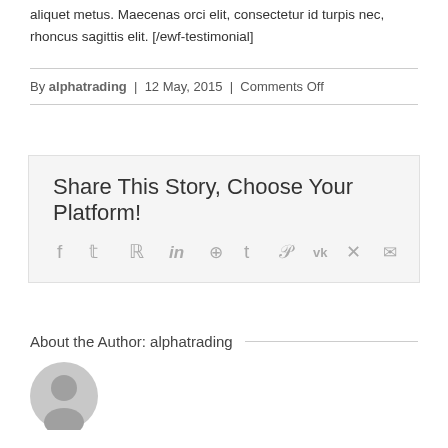aliquet metus. Maecenas orci elit, consectetur id turpis nec, rhoncus sagittis elit. [/ewf-testimonial]
By alphatrading | 12 May, 2015 | Comments Off
Share This Story, Choose Your Platform!
[Figure (infographic): Social sharing icons: Facebook, Twitter, Reddit, LinkedIn, WhatsApp, Tumblr, Pinterest, VK, Xing, Email]
About the Author: alphatrading
[Figure (photo): Generic user avatar circle icon in gray]